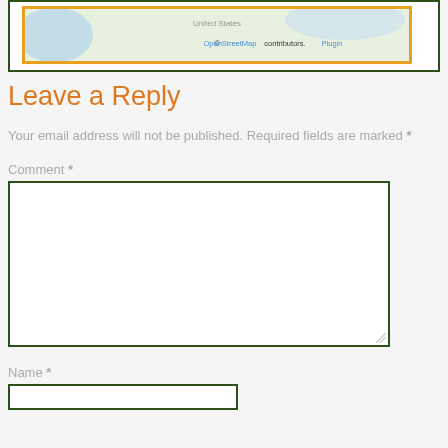[Figure (map): Map showing United States region, with OpenStreetMap attribution. Bordered by orange and dark green frames. Shows partial US coastline and terrain in light colors.]
© OpenStreetMap contributors. Plugin
Leave a Reply
Your email address will not be published. Required fields are marked *
Comment *
Name *